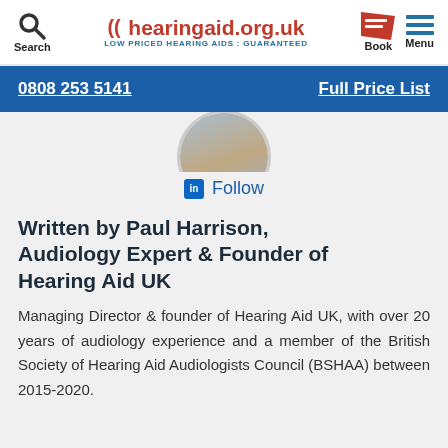Search | hearingaid.org.uk LOW PRICED HEARING AIDS : GUARANTEED | Book | Menu
0808 253 5141    Full Price List
[Figure (photo): Circular profile photo of Paul Harrison, partially visible at top]
in Follow
Written by Paul Harrison, Audiology Expert & Founder of Hearing Aid UK
Managing Director & founder of Hearing Aid UK, with over 20 years of audiology experience and a member of the British Society of Hearing Aid Audiologists Council (BSHAA) between 2015-2020.